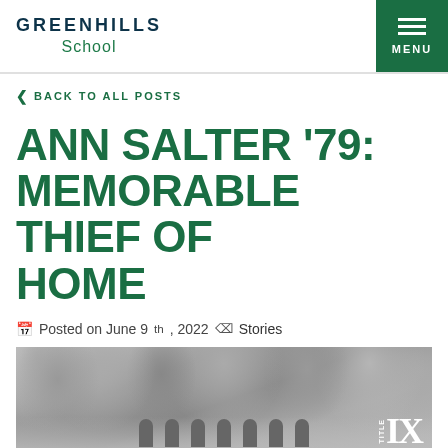GREENHILLS School
BACK TO ALL POSTS
ANN SALTER '79: MEMORABLE THIEF OF HOME
Posted on June 9th, 2022  Stories
[Figure (photo): Black and white photograph of a group of people standing outdoors among trees, with a Title IX logo overlay in the bottom right corner]